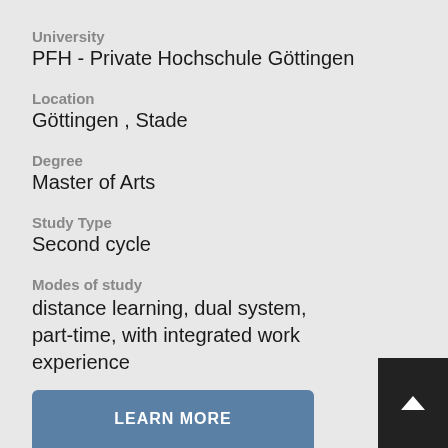University
PFH - Private Hochschule Göttingen
Location
Göttingen , Stade
Degree
Master of Arts
Study Type
Second cycle
Modes of study
distance learning, dual system, part-time, with integrated work experience